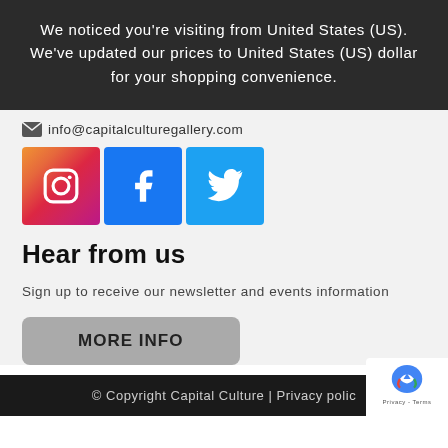We noticed you're visiting from United States (US). We've updated our prices to United States (US) dollar for your shopping convenience.
info@capitalculturegallery.com
[Figure (other): Social media icon buttons: Instagram (gradient), Facebook (blue), Twitter (blue)]
Hear from us
Sign up to receive our newsletter and events information
MORE INFO
© Copyright Capital Culture | Privacy polic…